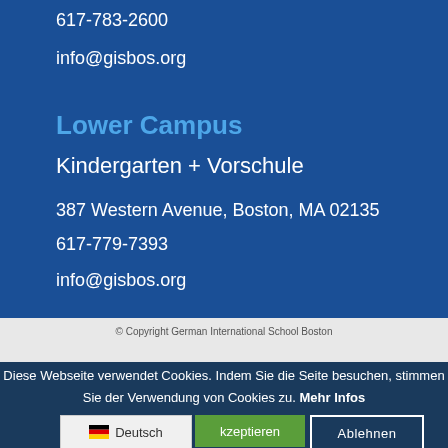617-783-2600
info@gisbos.org
Lower Campus
Kindergarten + Vorschule
387 Western Avenue, Boston, MA 02135
617-779-7393
info@gisbos.org
© Copyright German International School Boston
Diese Webseite verwendet Cookies. Indem Sie die Seite besuchen, stimmen Sie der Verwendung von Cookies zu. Mehr Infos
Deutsch
kzeptieren
Ablehnen